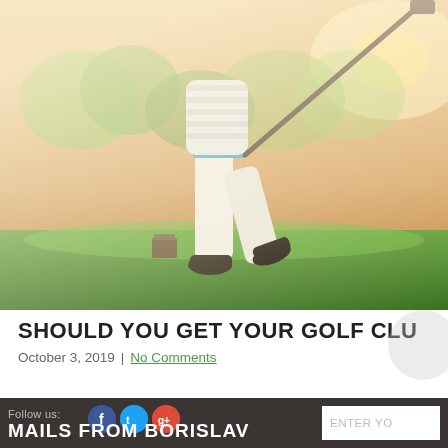[Figure (photo): A golfer mid-swing on a golf course at sunset/golden hour. The photo shows the lower half of the golfer wearing white pants and a striped shirt. Bright green grass fairway below, warm golden light and blurred trees in background. A tee marker cube is visible on the left.]
SHOULD YOU GET YOUR GOLF CLU...
October 3, 2019 | No Comments
MAILS FROM BORISLAV